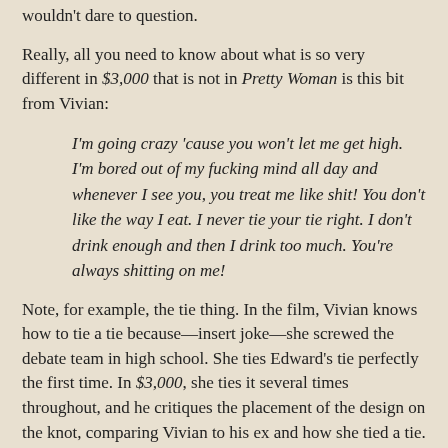wouldn't dare to question.
Really, all you need to know about what is so very different in $3,000 that is not in Pretty Woman is this bit from Vivian:
I'm going crazy 'cause you won't let me get high. I'm bored out of my fucking mind all day and whenever I see you, you treat me like shit! You don't like the way I eat. I never tie your tie right. I don't drink enough and then I drink too much. You're always shitting on me!
Note, for example, the tie thing. In the film, Vivian knows how to tie a tie because—insert joke—she screwed the debate team in high school. She ties Edward's tie perfectly the first time. In $3,000, she ties it several times throughout, and he critiques the placement of the design on the knot, comparing Vivian to his ex and how she tied a tie. Edward's response to this rant, by the way is to say, "I'm sorry. I thought I was treating you pretty nicely." To which Vivian responds:
I've fucked stinking old men who made me want